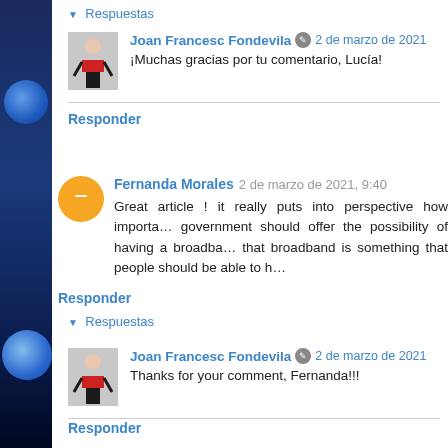▼ Respuestas
Joan Francesc Fondevila ✎ 2 de marzo de 2021
¡Muchas gracias por tu comentario, Lucía!
Responder
Fernanda Morales 2 de marzo de 2021, 9:40
Great article ! it really puts into perspective how importa… government should offer the possibility of having a broadba… that broadband is something that people should be able to h…
Responder
▼ Respuestas
Joan Francesc Fondevila ✎ 2 de marzo de 2021
Thanks for your comment, Fernanda!!!
Responder